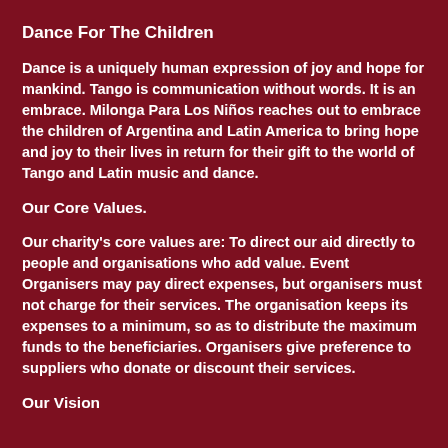Dance For The Children
Dance is a uniquely human expression of joy and hope for mankind. Tango is communication without words. It is an embrace. Milonga Para Los Niños reaches out to embrace the children of Argentina and Latin America to bring hope and joy to their lives in return for their gift to the world of Tango and Latin music and dance.
Our Core Values.
Our charity's core values are: To direct our aid directly to people and organisations who add value. Event Organisers may pay direct expenses, but organisers must not charge for their services. The organisation keeps its expenses to a minimum, so as to distribute the maximum funds to the beneficiaries. Organisers give preference to suppliers who donate or discount their services.
Our Vision